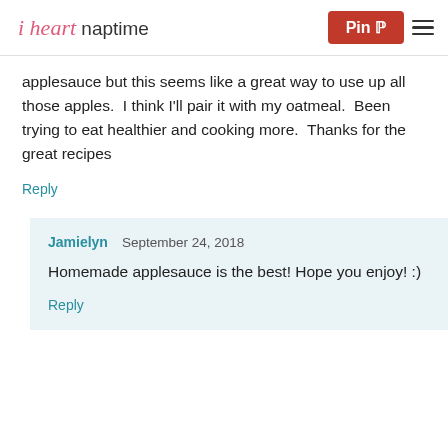i heart naptime | Pin | menu
applesauce but this seems like a great way to use up all those apples.  I think I'll pair it with my oatmeal.  Been trying to eat healthier and cooking more.  Thanks for the great recipes
Reply
Jamielyn   September 24, 2018
Homemade applesauce is the best! Hope you enjoy! :)
Reply